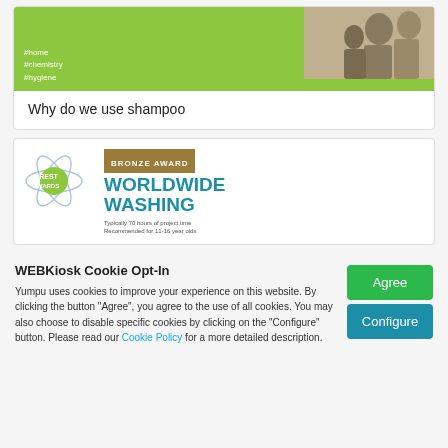[Figure (screenshot): Card with green background showing hashtags #home #chemistry #hygiene and a sepia-toned photo on the right side, partially visible at top]
Why do we use shampoo
[Figure (screenshot): CREST Awards card showing a Bronze Award for 'Worldwide Washing'. Includes CREST Awards logo on the left and teal colored bold text on right.]
WEBKiosk Cookie Opt-In
Yumpu uses cookies to improve your experience on this website. By clicking the button “Agree”, you agree to the use of all cookies. You may also choose to disable specific cookies by clicking on the “Configure” button. Please read our Cookie Policy for a more detailed description.